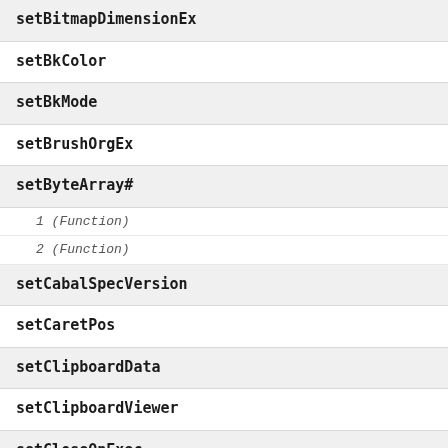setBitmapDimensionEx
setBkColor
setBkMode
setBrushOrgEx
setByteArray#
1 (Function)
2 (Function)
setCabalSpecVersion
setCaretPos
setClipboardData
setClipboardViewer
setCloseOnExec
setComplete
setComputerName